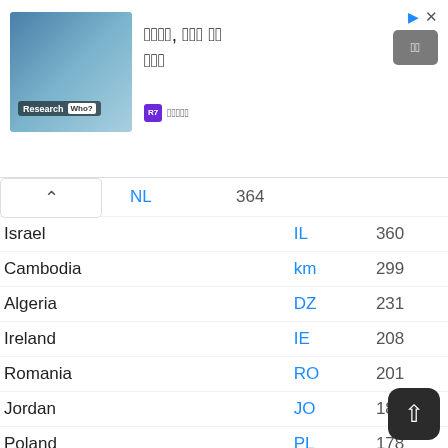[Figure (other): Advertisement banner with image of researcher in lab coat, Korean text, and a button]
| Country | Code | Count |
| --- | --- | --- |
| nds (Netherlands) | NL | 364 |
| Israel | IL | 360 |
| Cambodia | km | 299 |
| Algeria | DZ | 231 |
| Ireland | IE | 208 |
| Romania | RO | 201 |
| Jordan | JO | 186 |
| Poland | PL | 178 |
| Ghana | GH | 170 |
| Argentina | AR | 163 |
| South Africa | ZA | 148 |
| Belgium | BE | 133 |
| Czechia | CZ | 121 |